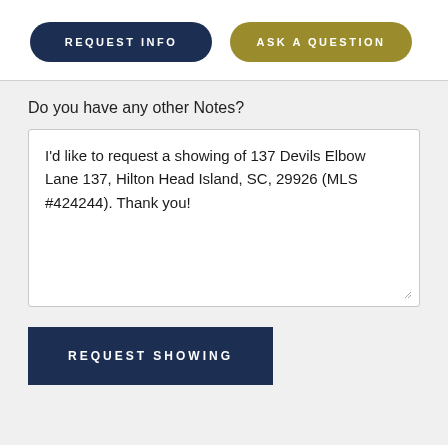[Figure (screenshot): Two rounded button elements: 'REQUEST INFO' (dark navy blue) and 'ASK A QUESTION' (olive/gold)]
Do you have any other Notes?
I'd like to request a showing of 137 Devils Elbow Lane 137, Hilton Head Island, SC, 29926 (MLS #424244). Thank you!
[Figure (screenshot): REQUEST SHOWING button in dark navy blue, rectangular shape]